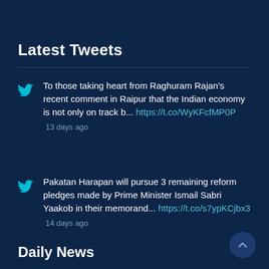Latest Tweets
To those taking heart from Raghuram Rajan’s recent comment in Raipur that the Indian economy is not only on track b... https://t.co/WyKFcfMP0P
13 days ago
Pakatan Harapan will pursue 3 remaining reform pledges made by Prime Minister Ismail Sabri Yaakob in their memorand... https://t.co/s7ypKCjbx3
14 days ago
Daily News